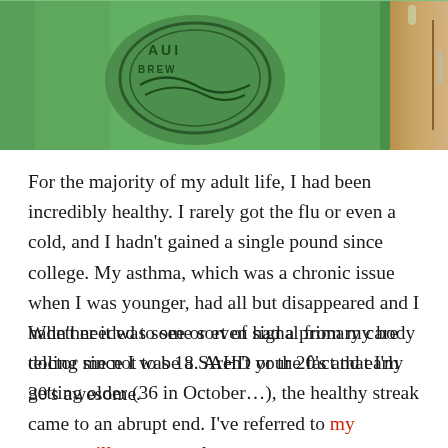[Figure (photo): Person wearing a green Maui Brewing Co. t-shirt, with wooden kitchen cabinets visible in the background on the right side.]
For the majority of my adult life, I had been incredibly healthy. I rarely got the flu or even a cold, and I hadn't gained a single pound since college. My asthma, which was a chronic issue when I was younger, had all but disappeared and I hadn't needed to see or even had a primary care doctor since I was 18. Aren't your 20's and early 30's awesome.
Whether it was some sort of signal from my body telling me not to be a SAHD or the fact that I'm getting older (36 in October…), the healthy streak came to an abrupt end. I've referred to my mystery illness a couple